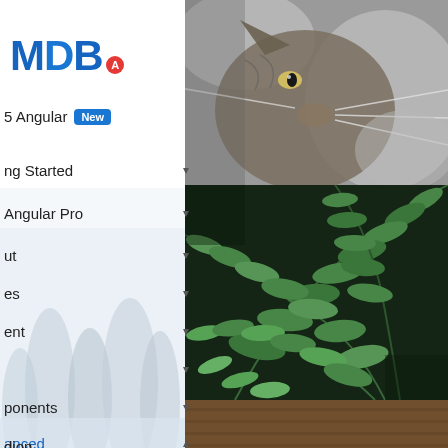[Figure (logo): MDB logo with blue letters M, D, B and red circular badge with letter A]
MDB5 Angular New
Getting Started ▾
Angular Pro ▾
out ▾
es ▾
ent ▾
▾
ponents ▾
anced ▲
dion
[Figure (photo): Black and white close-up photo of a cat's face looking to the right]
[Figure (photo): Close-up photo of green fern leaves on dark background]
[Figure (photo): Close-up photo of wooden surface/planks]